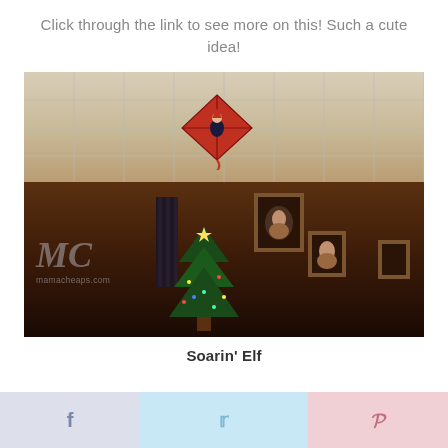Click through the link to see more on this! Such a cute idea!
[Figure (photo): Photo of an elf on the shelf toy attached to a kite flying near the ceiling of a room. A Christmas tree is visible in the lower portion. Watermark reads 'MC / mamacheaps.com'.]
Soarin' Elf